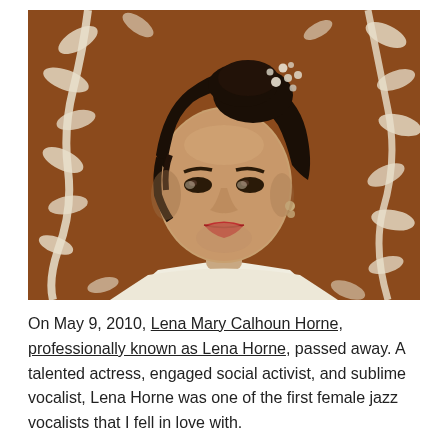[Figure (photo): Vintage color photograph of Lena Horne, a young woman with dark hair styled up and adorned with pearl or crystal hairpiece, wearing a white top, posed against a brown and white floral/leaf-patterned background.]
On May 9, 2010, Lena Mary Calhoun Horne, professionally known as Lena Horne, passed away.  A talented actress, engaged social activist, and sublime vocalist, Lena Horne was one of the first female jazz vocalists that I fell in love with.